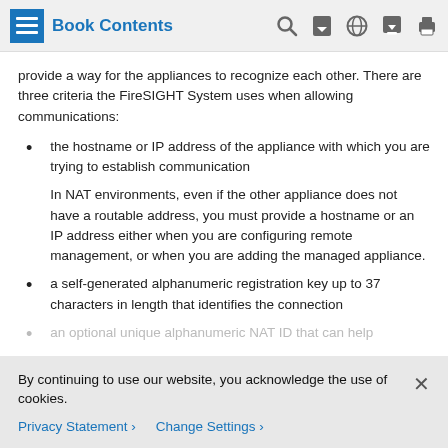Book Contents
provide a way for the appliances to recognize each other. There are three criteria the FireSIGHT System uses when allowing communications:
the hostname or IP address of the appliance with which you are trying to establish communication

In NAT environments, even if the other appliance does not have a routable address, you must provide a hostname or an IP address either when you are configuring remote management, or when you are adding the managed appliance.
a self-generated alphanumeric registration key up to 37 characters in length that identifies the connection
an optional unique alphanumeric NAT ID that can help
By continuing to use our website, you acknowledge the use of cookies.
Privacy Statement > Change Settings >